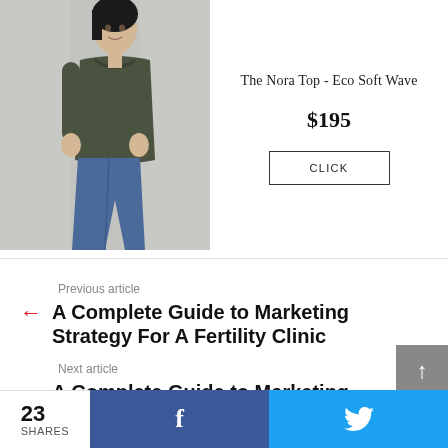[Figure (photo): Woman wearing a dark olive/grey draped cowl-neck sleeveless top with blue jeans, posing against a light grey background.]
The Nora Top - Eco Soft Wave
$195
CLICK
Previous article
A Complete Guide to Marketing Strategy For A Fertility Clinic
Next article
A Complete Guide to Marketing
23
SHARES